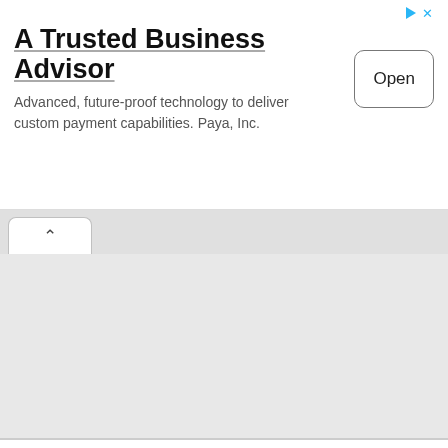[Figure (screenshot): Advertisement banner for 'A Trusted Business Advisor' by Paya, Inc. with an Open button and ad icons in top right.]
| Field | Value |
| --- | --- |
| Department Name | Maharashtra State Council of Examination, Pune |
| Scholarship Name | MSCE Pune Scholarship for 5th & 8th Standard Students |
| Type of Scholarship Exam | State Level Exam |